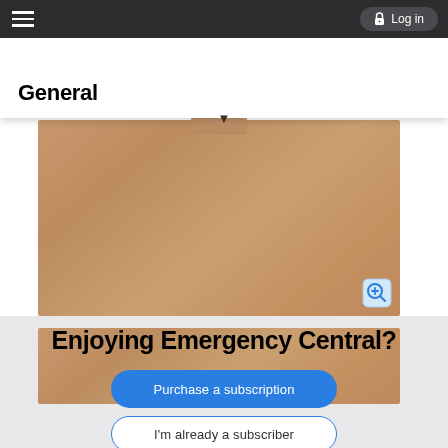General   Log in
General
[Figure (photo): A cardboard box partially open, viewed from above, with a rounded handle/tab visible at the top and a zoom-in magnifier icon in the bottom right corner.]
[Figure (photo): A second cardboard box, cropped, showing just the tan/brown cardboard surface.]
Enjoying Emergency Central?
Purchase a subscription
I'm already a subscriber